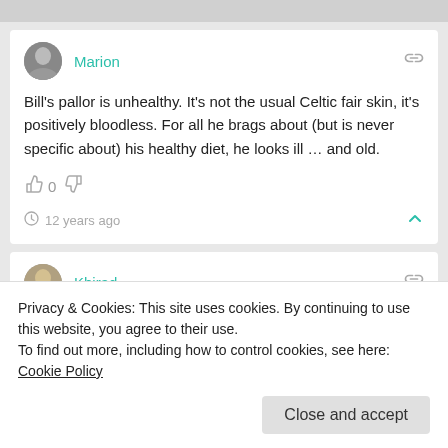Marion
Bill's pallor is unhealthy. It's not the usual Celtic fair skin, it's positively bloodless. For all he brags about (but is never specific about) his healthy diet, he looks ill … and old.
0
12 years ago
Khirad
Privacy & Cookies: This site uses cookies. By continuing to use this website, you agree to their use.
To find out more, including how to control cookies, see here: Cookie Policy
Close and accept